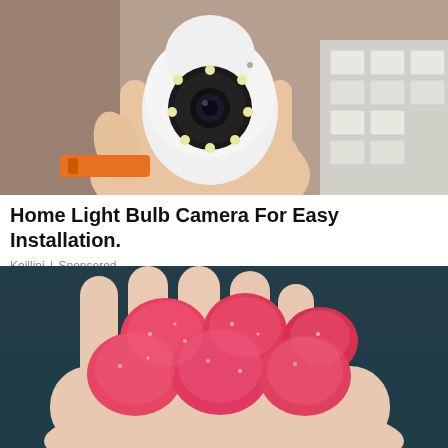[Figure (photo): A hand holding a small white dome security camera with LED ring, with an orange power drill wrist strap visible and cardboard boxes in background]
Home Light Bulb Camera For Easy Installation.
Keillini | Sponsored
[Figure (photo): A hand holding several red/pink sugar-coated gummy candies against a dark teal background]